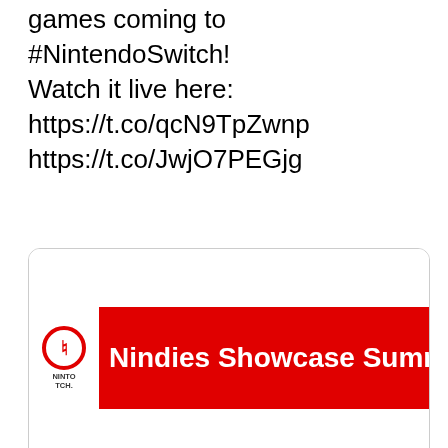games coming to #NintendoSwitch! Watch it live here: https://t.co/qcN9TpZwnp https://t.co/JwjO7PEGjg
[Figure (screenshot): Nintendo Switch Nindies Showcase Summer 2018 promotional card showing a red banner with Nintendo Switch logo and the text 'Nindies Showcase Summer 201' (cropped) and a date '8.28.2018' on white background]
Privacy & Cookies: This site uses cookies. By continuing to use this website, you agree to their use. To find out more, including how to control cookies, see here: Cookie Policy